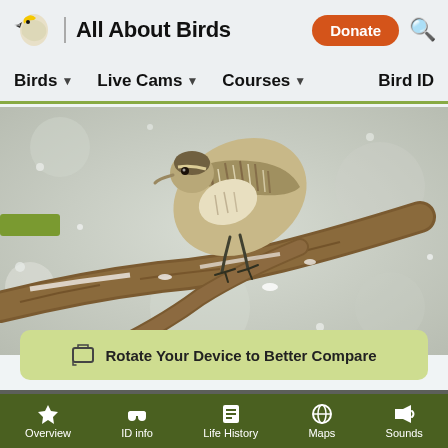All About Birds — Birds | Live Cams | Courses | Bird ID | Donate
[Figure (photo): Close-up photo of a brown-and-white streaked bird clinging to a bare branch in snowy/winter conditions. The bird appears to be a creeper or similar small songbird.]
Rotate Your Device to Better Compare
Need Bird ID Help?  Try Merlin
Overview | ID info | Life History | Maps | Sounds